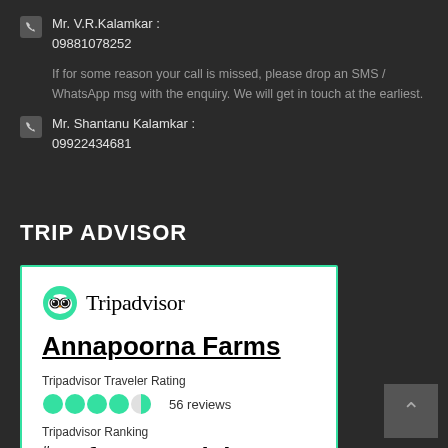Mr. V.R.Kalamkar : 09881078252
If for some reason your call is missed, please drop an SMS / WhatsApp msg with the enquiry. We will get in touch at the earliest.
Mr. Shantanu Kalamkar : 09922434681
TRIP ADVISOR
[Figure (other): Tripadvisor widget card for Annapoorna Farms showing logo, traveler rating of 4.5 circles with 56 reviews, and ranking #3 of 34 Specialty lodging in Karjat Town, with links to Read reviews and Write a review.]